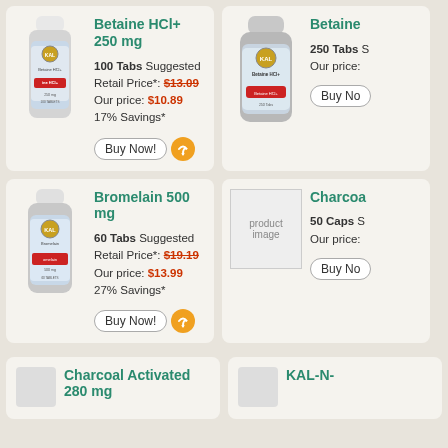[Figure (photo): KAL Betaine HCl+ supplement bottle, white cap, label visible]
Betaine HCl+ 250 mg
100 Tabs Suggested Retail Price*: $13.09
Our price: $10.89 17% Savings*
Buy Now!
[Figure (photo): KAL Betaine HCl+ supplement bottle, larger size, 250 tabs]
Betaine
250 Tabs Suggested Retail Price*:
Our price:
Buy No
[Figure (photo): KAL Bromelain 500 mg supplement bottle]
Bromelain 500 mg
60 Tabs Suggested Retail Price*: $19.19
Our price: $13.99 27% Savings*
Buy Now!
[Figure (photo): product image placeholder]
Charcoa
50 Caps S
Our price:
Buy No
[Figure (photo): Charcoal Activated product bottle, partial view]
Charcoal Activated 280 mg
[Figure (photo): KAL-N product bottle, partial view]
KAL-N-